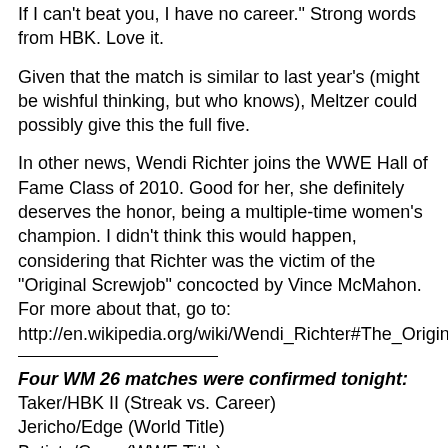If I can't beat you, I have no career." Strong words from HBK. Love it.
Given that the match is similar to last year's (might be wishful thinking, but who knows), Meltzer could possibly give this the full five.
In other news, Wendi Richter joins the WWE Hall of Fame Class of 2010. Good for her, she definitely deserves the honor, being a multiple-time women's champion. I didn't think this would happen, considering that Richter was the victim of the "Original Screwjob" concocted by Vince McMahon. For more about that, go to: http://en.wikipedia.org/wiki/Wendi_Richter#The_Original_Screwjob
Four WM 26 matches were confirmed tonight:
Taker/HBK II (Streak vs. Career)
Jericho/Edge (World Title)
Batista/Cena (WWE Title)
Money in the Bank (Christian qualified so far)